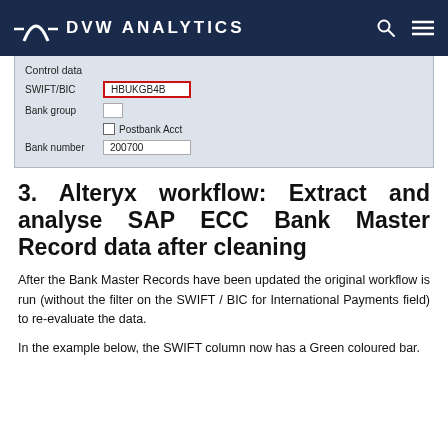DVW ANALYTICS
[Figure (screenshot): SAP ECC Bank Master Record form showing Control data section with SWIFT/BIC field containing HBUKGB4B (highlighted in red border), Bank group field, Postbank Acct checkbox, and Bank number field containing 200700]
3. Alteryx workflow: Extract and analyse SAP ECC Bank Master Record data after cleaning
After the Bank Master Records have been updated the original workflow is run (without the filter on the SWIFT / BIC for International Payments field) to re-evaluate the data.
In the example below, the SWIFT column now has a Green coloured bar.